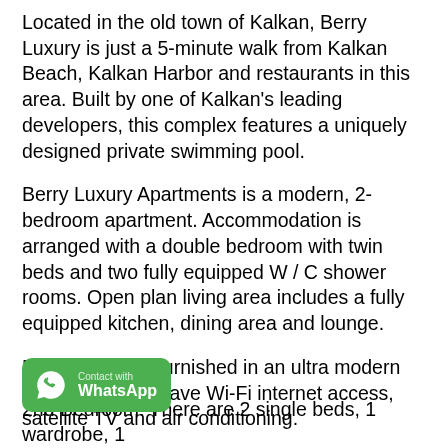Located in the old town of Kalkan, Berry Luxury is just a 5-minute walk from Kalkan Beach, Kalkan Harbor and restaurants in this area. Built by one of Kalkan's leading developers, this complex features a uniquely designed private swimming pool.
Berry Luxury Apartments is a modern, 2-bedroom apartment. Accommodation is arranged with a double bedroom with twin beds and two fully equipped W / C shower rooms. Open plan living area includes a fully equipped kitchen, dining area and lounge.
Berry Luxury is furnished in an ultra modern style. All rooms have Wi-Fi internet access, satellite TV and air conditioning.
1st Bedroom: There is 1 double bed, 1 wardrobe, 1 bedside table and 1 air conditioner.
[Figure (logo): WhatsApp contact button with green background, phone icon, and 'Contact with WhatsApp' text]
2nd Bedroom: There are 2 single beds, 1 wardrobe, 1